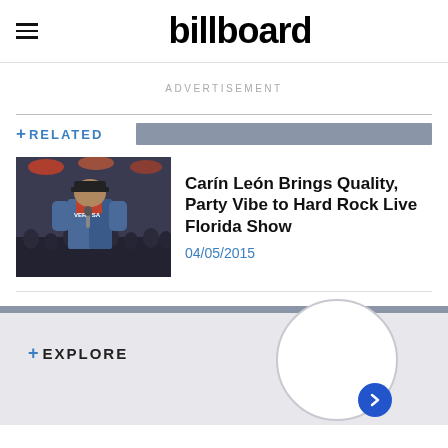billboard
ADVERTISEMENT
+ RELATED
[Figure (photo): Performer on stage wearing denim jacket and cap, singing at a live concert event]
Carín León Brings Quality, Party Vibe to Hard Rock Live Florida Show
04/05/2015
+ EXPLORE